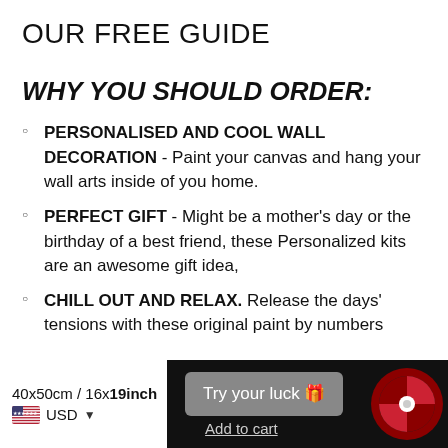OUR FREE GUIDE
WHY YOU SHOULD ORDER:
PERSONALISED AND COOL WALL DECORATION - Paint your canvas and hang your wall arts inside of you home.
PERFECT GIFT - Might be a mother's day or the birthday of a best friend, these Personalized kits are an awesome gift idea,
CHILL OUT AND RELAX. Release the days' tensions with these original paint by numbers
40x50cm / 16x19inch
USD
Try your luck 🎁
Add to cart